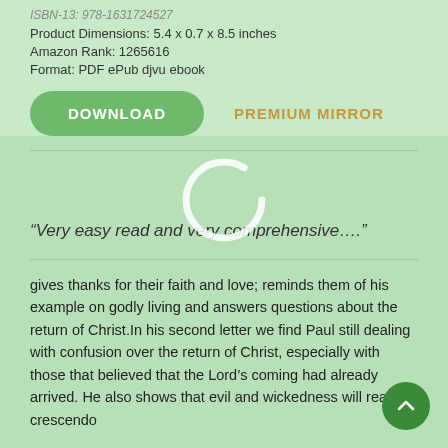ISBN-13: 978-1631724527
Product Dimensions: 5.4 x 0.7 x 8.5 inches
Amazon Rank: 1265616
Format: PDF ePub djvu ebook
DOWNLOAD
PREMIUM MIRROR
“Very easy read and very comprehensive....”
gives thanks for their faith and love; reminds them of his example on godly living and answers questions about the return of Christ.In his second letter we find Paul still dealing with confusion over the return of Christ, especially with those that believed that the Lord’s coming had already arrived. He also shows that evil and wickedness will reach a crescendo